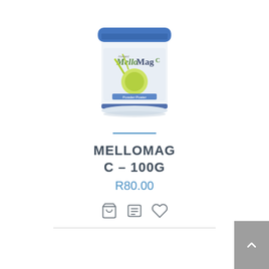[Figure (photo): Product photo of MelloMag C powder supplement in a white container with blue lid and green label]
MELLOMAG C – 100G
R80.00
[Figure (other): Action icons: shopping cart, list/detail view, and heart/wishlist icons]